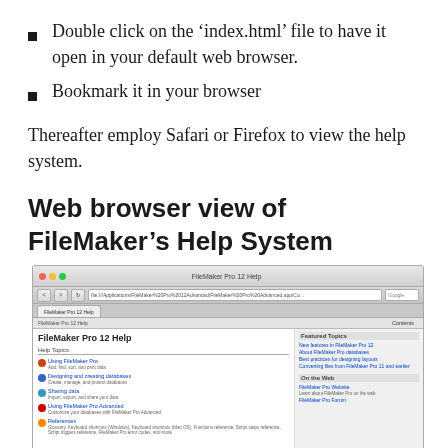Double click on the ‘index.html’ file to have it open in your default web browser.
Bookmark it in your browser
Thereafter employ Safari or Firefox to view the help system.
Web browser view of FileMaker’s Help System
[Figure (screenshot): Screenshot of FileMaker Pro 12 Help displayed in a Mac web browser (Safari), showing the help system home page with Help Topics on the left and Featured Topics on the right sidebar.]